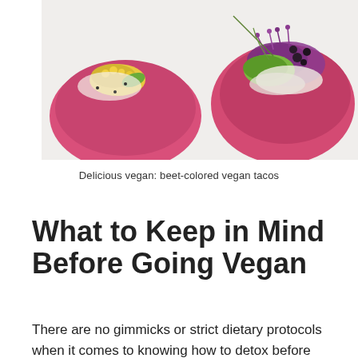[Figure (photo): Two beet-colored pink vegan tacos on a light surface, filled with colorful toppings including yellow corn, green avocado, purple cabbage, and mixed greens.]
Delicious vegan: beet-colored vegan tacos
What to Keep in Mind Before Going Vegan
There are no gimmicks or strict dietary protocols when it comes to knowing how to detox before